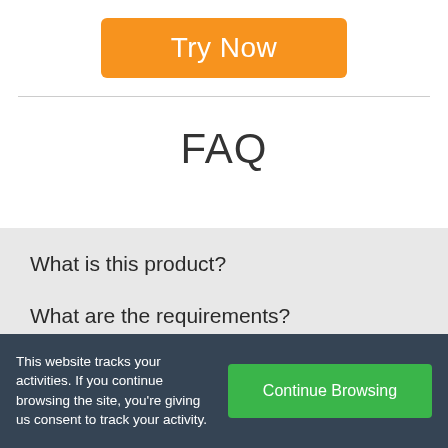[Figure (other): Orange 'Try Now' button with rounded corners and white text]
FAQ
What is this product?
What are the requirements?
This website tracks your activities. If you continue browsing the site, you're giving us consent to track your activity.
[Figure (other): Green 'Continue Browsing' button]